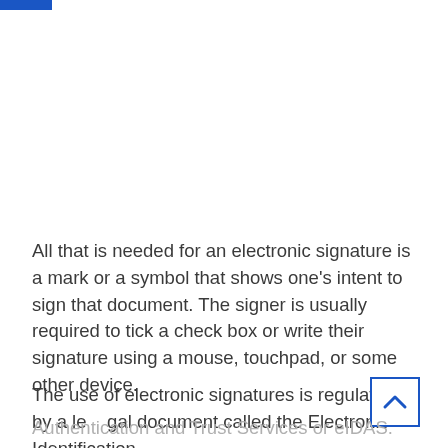All that is needed for an electronic signature is a mark or a symbol that shows one's intent to sign that document. The signer is usually required to tick a check box or write their signature using a mouse, touchpad, or some other device.
The use of electronic signatures is regulated by a legal document called the Electronic Identification, Authentication and Trust Services or eIDAS. According to eIDAS, there are three different types of electronic